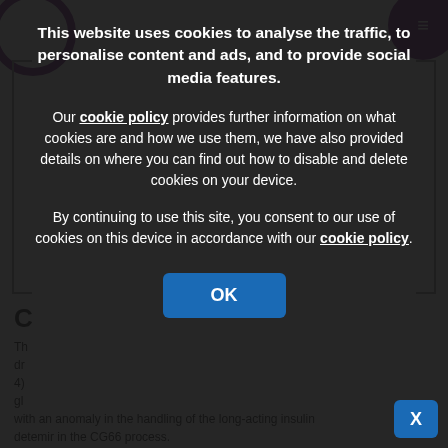[Figure (screenshot): Screenshot of a website with a cookie consent modal overlay. The background shows a medical/healthcare website with purple circular logo elements and partially visible text about insulin detemir and CG66 process. The dark semi-transparent overlay contains a cookie consent dialog with bold white text, a blue OK button, and a blue X button in the bottom right.]
This website uses cookies to analyse the traffic, to personalise content and ads, and to provide social media features.
Our cookie policy provides further information on what cookies are and how we use them, we have also provided details on where you can find out how to disable and delete cookies on your device.
By continuing to use this site, you consent to our use of cookies on this device in accordance with our cookie policy.